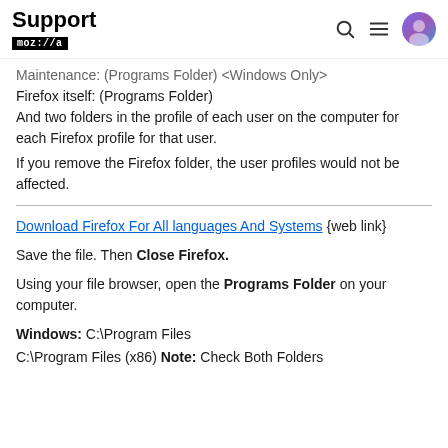Support mozilla//a
Maintenance: (Programs Folder) <Windows Only>
Firefox itself: (Programs Folder)
And two folders in the profile of each user on the computer for each Firefox profile for that user.
If you remove the Firefox folder, the user profiles would not be affected.
Download Firefox For All languages And Systems {web link}
Save the file. Then Close Firefox.
Using your file browser, open the Programs Folder on your computer.
Windows: C:\Program Files
C:\Program Files (x86) Note: Check Both Folders